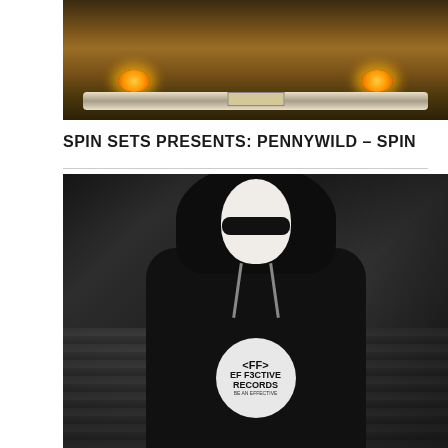[Figure (photo): Front view of a classic car bumper with illuminated orange/yellow headlights, chrome bumper and license plate, warm amber lighting, dark background]
SPIN SETS PRESENTS: PENNYWILD – SPIN
[Figure (photo): Black and white photo of a person wearing a white face mask and dark hoodie with Effective Records logo on the chest, leaning against a wooden wall background]